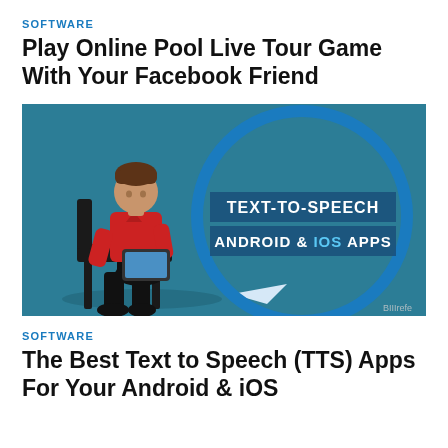SOFTWARE
Play Online Pool Live Tour Game With Your Facebook Friend
[Figure (illustration): Illustration of a person in a red shirt sitting on a chair looking at a tablet, next to a large blue speech bubble containing the text 'TEXT-TO-SPEECH ANDROID & IOS APPS'. Watermark 'BIIIrefe' in the bottom right corner.]
SOFTWARE
The Best Text to Speech (TTS) Apps For Your Android & iOS